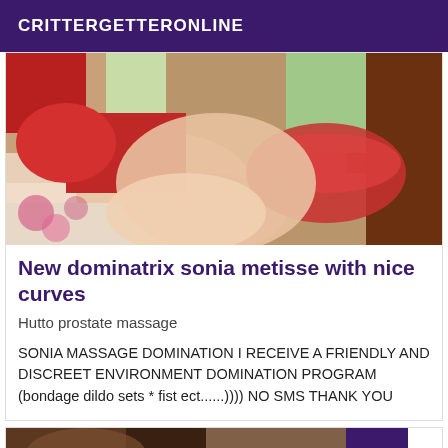CRITTERGETTERONLINE
[Figure (photo): Close-up photo of a person's legs and lower body with red fabric and floral fabric visible in background]
New dominatrix sonia metisse with nice curves
Hutto prostate massage
SONIA MASSAGE DOMINATION I RECEIVE A FRIENDLY AND DISCREET ENVIRONMENT DOMINATION PROGRAM (bondage dildo sets * fist ect......)))) NO SMS THANK YOU
[Figure (photo): Partial photo of a person, with VIP badge overlay in purple]